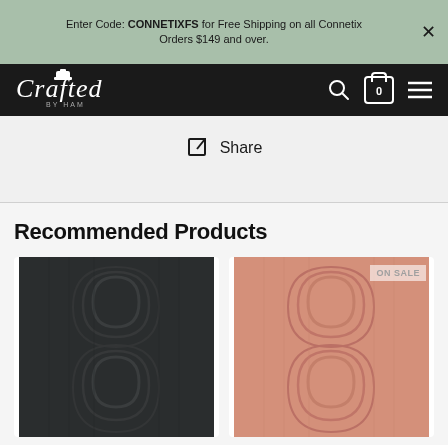Enter Code: CONNETIXFS for Free Shipping on all Connetix Orders $149 and over.
[Figure (logo): Crafted by Ham logo in white italic script on black navbar with search, cart (0), and menu icons]
Share
Recommended Products
[Figure (photo): Dark charcoal/black rug with embossed arch/rainbow pattern texture]
[Figure (photo): Terracotta/blush pink rug with embossed arch/rainbow pattern texture, with ON SALE badge]